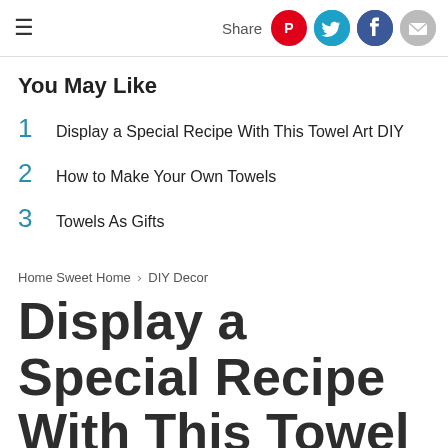≡  Share
You May Like
1  Display a Special Recipe With This Towel Art DIY
2  How to Make Your Own Towels
3  Towels As Gifts
Home Sweet Home › DIY Decor
Display a Special Recipe With This Towel Art DIY